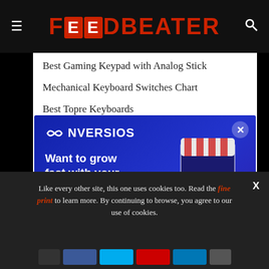FOODBEATER
Best Gaming Keypad with Analog Stick
Mechanical Keyboard Switches Chart
Best Topre Keyboards
[Figure (infographic): CONVERSIOS advertisement popup. Blue gradient background. Text: Want to grow fast with your ecommerce store? Run your Google campaigns via most popular plugin - Conversios. Button: I am in. Illustration of woman shopping with cart next to large smartphone with striped awning.]
Build Your Own Mechanical Keyboard
Like every other site, this one uses cookies too. Read the fine print to learn more. By continuing to browse, you agree to our use of cookies.